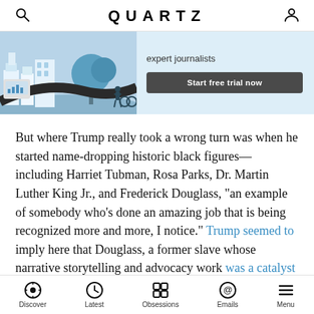QUARTZ
[Figure (illustration): Quartz subscription banner with illustrated scene of city/nature and blue color scheme showing 'expert journalists' text and 'Start free trial now' button]
But where Trump really took a wrong turn was when he started name-dropping historic black figures—including Harriet Tubman, Rosa Parks, Dr. Martin Luther King Jr., and Frederick Douglass, “an example of somebody who’s done an amazing job that is being recognized more and more, I notice.” Trump seemed to imply here that Douglass, a former slave whose narrative storytelling and advocacy work was a catalyst for the abolitionist movement, may still be alive and working despite his
Discover  Latest  Obsessions  Emails  Menu